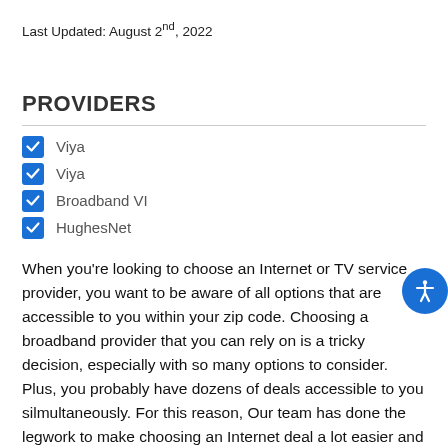Last Updated: August 2nd, 2022
PROVIDERS
Viya
Viya
Broadband VI
HughesNet
When you’re looking to choose an Internet or TV service provider, you want to be aware of all options that are accessible to you within your zip code. Choosing a broadband provider that you can rely on is a tricky decision, especially with so many options to consider. Plus, you probably have dozens of deals accessible to you silmultaneously. For this reason, Our team has done the legwork to make choosing an Internet deal a lot easier and less stressful. Instead of having to conduct your own research into what providers are available in 00850, our team